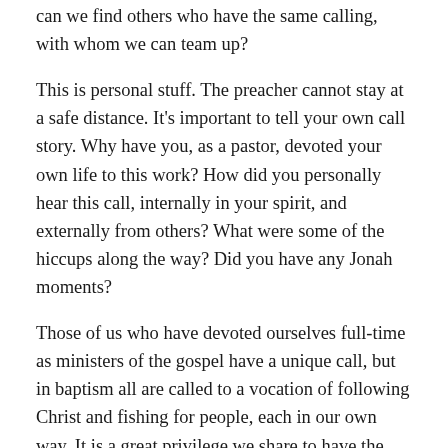can we find others who have the same calling, with whom we can team up?
This is personal stuff. The preacher cannot stay at a safe distance. It's important to tell your own call story. Why have you, as a pastor, devoted your own life to this work? How did you personally hear this call, internally in your spirit, and externally from others? What were some of the hiccups along the way? Did you have any Jonah moments?
Those of us who have devoted ourselves full-time as ministers of the gospel have a unique call, but in baptism all are called to a vocation of following Christ and fishing for people, each in our own way. It is a great privilege we share to have the opportunity to help others find their own God-given calling in the context of the good news that the Kingdom of God is breaking into our world. When